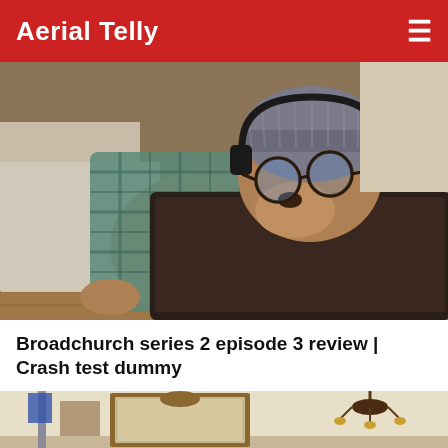Aerial Telly
[Figure (photo): A dog dressed in a plaid shirt, grey knit beanie, glasses and headphones, leaning against a dark leather couch arm, appearing to watch something on a screen.]
Broadchurch series 2 episode 3 review | Crash test dummy
[Figure (photo): Partial view of an ornate interior room with a framed mirror or picture and a chandelier visible.]